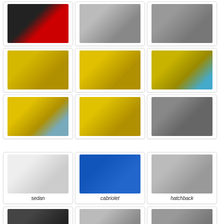[Figure (photo): Car interior with red and black seats]
[Figure (photo): Silver Audi A3 front view on road]
[Figure (photo): Silver/grey Audi A3 side view]
[Figure (photo): Yellow Audi A3 front view on beach]
[Figure (photo): Yellow Audi A3 three-quarter front view at stadium]
[Figure (photo): Yellow Audi A3 side view near water]
[Figure (photo): Yellow Audi A3 rear three-quarter view]
[Figure (photo): Yellow Audi A3 rear view near water]
[Figure (photo): Audi A3 interior dashboard view]
[Figure (photo): White Audi A3 sedan front view]
sedan
[Figure (photo): Blue Audi A3 cabriolet convertible]
cabriolet
[Figure (photo): Silver Audi A3 hatchback side view in mountains]
hatchback
[Figure (photo): Dark Audi partial view bottom row left]
[Figure (photo): Audi partial view bottom row center]
[Figure (photo): Audi partial view bottom row right]